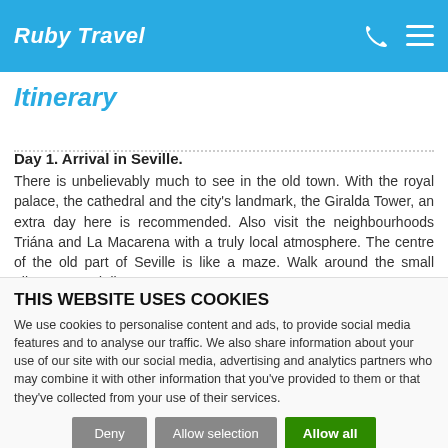Ruby Travel
Itinerary
Day 1. Arrival in Seville.
There is unbelievably much to see in the old town. With the royal palace, the cathedral and the city's landmark, the Giralda Tower, an extra day here is recommended. Also visit the neighbourhoods Triána and La Macarena with a truly local atmosphere. The centre of the old part of Seville is like a maze. Walk around the small alleyways and discover cosy squares
THIS WEBSITE USES COOKIES
We use cookies to personalise content and ads, to provide social media features and to analyse our traffic. We also share information about your use of our site with our social media, advertising and analytics partners who may combine it with other information that you've provided to them or that they've collected from your use of their services.
Deny | Allow selection | Allow all
Necessary  Preferences  Statistics  Show details  Marketing